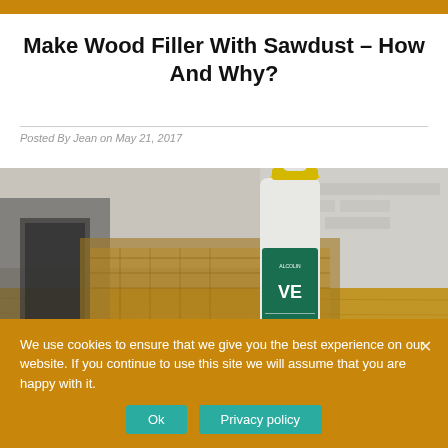Make Wood Filler With Sawdust – How And Why?
Posted By Jean on May 21, 2017
[Figure (photo): A bottle of wood glue with yellow cap sitting on a wooden workbench surface with jig/frame visible, workshop setting with brick wall in background]
We use cookies to ensure that we give you the best experience on our website. If you continue to use this site we will assume that you are happy with it.